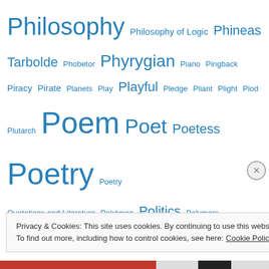Philosophy Philosophy of Logic Phineas Tarbolde Phobetor Phyrygian Piano Pingback Piracy Pirate Planets Play Playful Pledge Pliant Plight Plod Plutarch Poem Poet Poetess Poetry Poetry Quotations and Literature Pokémon Politics Polymers Pornography Portuguese Positive PostIdNum Post Modern Powerful Pray Prayer Predestination President Pressure Prey Pride Pro-Life Probability Processing Programming Programs Pronoun Property prose Proverb Providence Pseudo Haiku Psychology Publishers Publishing Purity Puzzle Python QR code Quatrain Queen Question mark Quiet Rain rake Rape Rape Victims Rapping Reading Reading Instruction Real Reality Reality-Based
Privacy & Cookies: This site uses cookies. By continuing to use this website, you agree to their use.
To find out more, including how to control cookies, see here: Cookie Policy